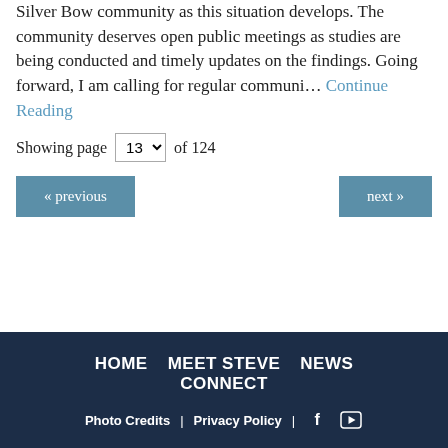Silver Bow community as this situation develops. The community deserves open public meetings as studies are being conducted and timely updates on the findings. Going forward, I am calling for regular communi… Continue Reading
Showing page 13 of 124
« previous
next »
HOME   MEET STEVE   NEWS   CONNECT
Photo Credits  |  Privacy Policy  |  f  [YouTube]